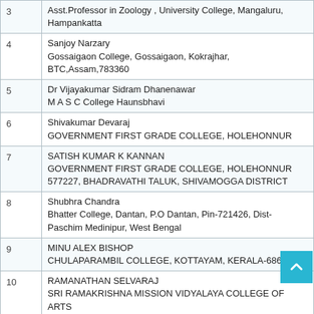| # | Participant / Institution |
| --- | --- |
| 3 | Asst.Professor in Zoology , University College, Mangaluru, Hampankatta |
| 4 | Sanjoy Narzary
Gossaigaon College, Gossaigaon, Kokrajhar, BTC,Assam,783360 |
| 5 | Dr Vijayakumar Sidram Dhanenawar
M A S C College Haunsbhavi |
| 6 | Shivakumar Devaraj
GOVERNMENT FIRST GRADE COLLEGE, HOLEHONNUR |
| 7 | SATISH KUMAR K KANNAN
GOVERNMENT FIRST GRADE COLLEGE, HOLEHONNUR
577227, BHADRAVATHI TALUK, SHIVAMOGGA DISTRICT |
| 8 | Shubhra Chandra
Bhatter College, Dantan, P.O Dantan, Pin-721426, Dist-Paschim Medinipur, West Bengal |
| 9 | MINU ALEX BISHOP
CHULAPARAMBIL COLLEGE, KOTTAYAM, KERALA-686001 |
| 10 | RAMANATHAN SELVARAJ
SRI RAMAKRISHNA MISSION VIDYALAYA COLLEGE OF ARTS AND SCIENCE PERIYANAIKEN PALAYAM COIMBATORE 6
TAMIL NADU |
|  | Within State Participants |